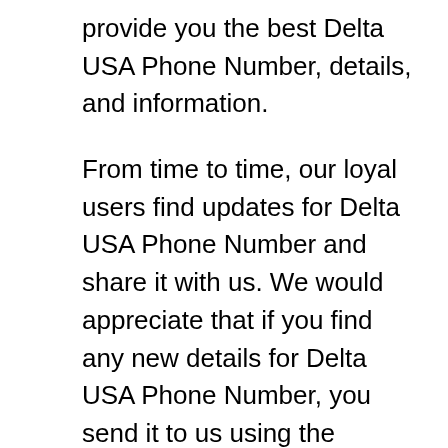provide you the best Delta USA Phone Number, details, and information.
From time to time, our loyal users find updates for Delta USA Phone Number and share it with us. We would appreciate that if you find any new details for Delta USA Phone Number, you send it to us using the contact us page or the comments form below. Once we verify and confirm the information and publish it accordingly for the benefits of all users.
My-Medical-Insurance.com is a high-quality website that has no affiliation with any federal...